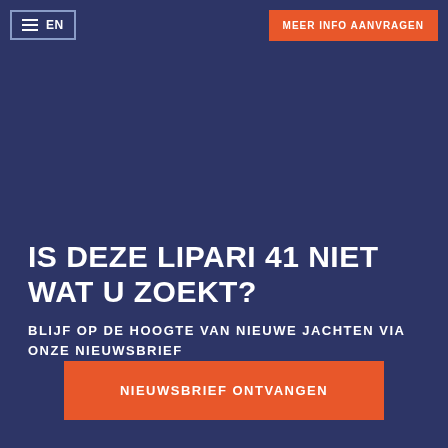EN
MEER INFO AANVRAGEN
IS DEZE LIPARI 41 NIET WAT U ZOEKT?
BLIJF OP DE HOOGTE VAN NIEUWE JACHTEN VIA ONZE NIEUWSBRIEF
NIEUWSBRIEF ONTVANGEN